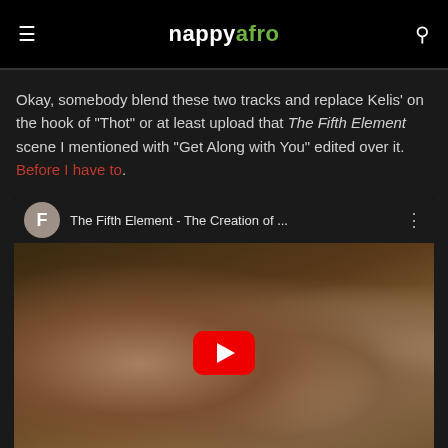nappyafro
Okay, somebody blend these two tracks and replace Kelis' on the hook of "Thot" or at least upload that The Fifth Element scene I mentioned with "Get Along with You" edited over it. Before I have to.
[Figure (screenshot): Embedded YouTube video thumbnail showing The Fifth Element - The Creation of ... with a play button overlay and channel avatar 'F']